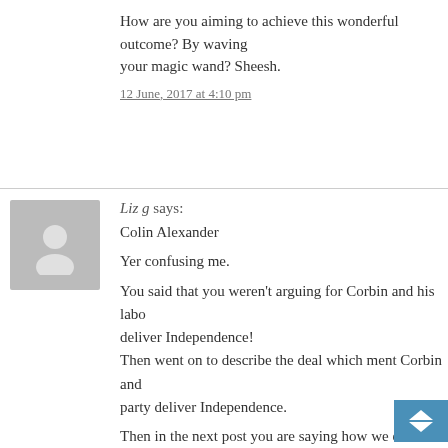How are you aiming to achieve this wonderful outcome? By waving your magic wand? Sheesh.
12 June, 2017 at 4:10 pm
[Figure (illustration): Grey avatar placeholder image showing a person silhouette]
Liz g says:
Colin Alexander
Yer confusing me.
You said that you weren't arguing for Corbin and his labour to deliver Independence!
Then went on to describe the deal which ment Corbin and party deliver Independence.

Then in the next post you are saying how we establish So and become independent that way.
Which would/wouldn't give Corbin a role?

And just as an FYI....we already have legal Sovereignty, and never has been in dispute....
It's political Sovereignty we don't have in Scotland, we keep it to Westminster.

But Political Sovereignty is a very different beast t